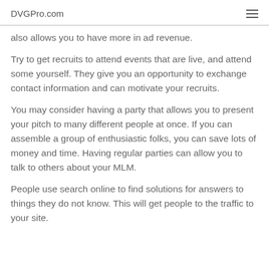DVGPro.com
also allows you to have more in ad revenue.
Try to get recruits to attend events that are live, and attend some yourself. They give you an opportunity to exchange contact information and can motivate your recruits.
You may consider having a party that allows you to present your pitch to many different people at once. If you can assemble a group of enthusiastic folks, you can save lots of money and time. Having regular parties can allow you to talk to others about your MLM.
People use search online to find solutions for answers to things they do not know. This will get people to the traffic to your site.